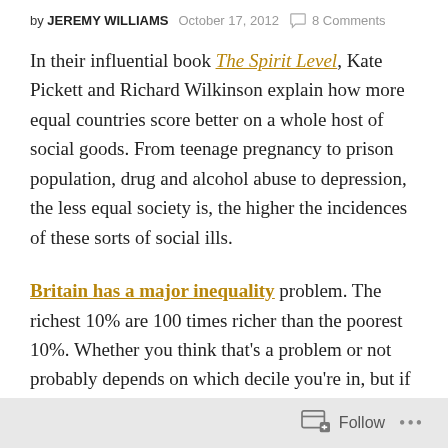by JEREMY WILLIAMS   October 17, 2012   8 Comments
In their influential book The Spirit Level, Kate Pickett and Richard Wilkinson explain how more equal countries score better on a whole host of social goods. From teenage pregnancy to prison population, drug and alcohol abuse to depression, the less equal society is, the higher the incidences of these sorts of social ills.
Britain has a major inequality problem. The richest 10% are 100 times richer than the poorest 10%. Whether you think that's a problem or not probably depends on which decile you're in, but if
Follow ...